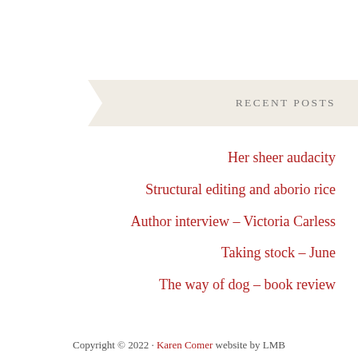RECENT POSTS
Her sheer audacity
Structural editing and aborio rice
Author interview – Victoria Carless
Taking stock – June
The way of dog – book review
Copyright © 2022 · Karen Comer website by LMB